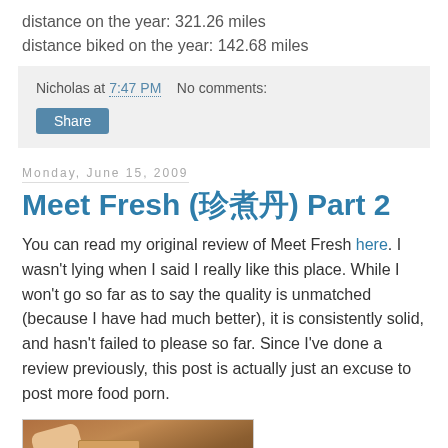distance on the year: 321.26 miles
distance biked on the year: 142.68 miles
Nicholas at 7:47 PM   No comments:
Share
Monday, June 15, 2009
Meet Fresh (珍煮丹) Part 2
You can read my original review of Meet Fresh here. I wasn't lying when I said I really like this place. While I won't go so far as to say the quality is unmatched (because I have had much better), it is consistently solid, and hasn't failed to please so far. Since I've done a review previously, this post is actually just an excuse to post more food porn.
[Figure (photo): Photo of food at Meet Fresh restaurant, showing a hand holding something near a menu/card on a table]